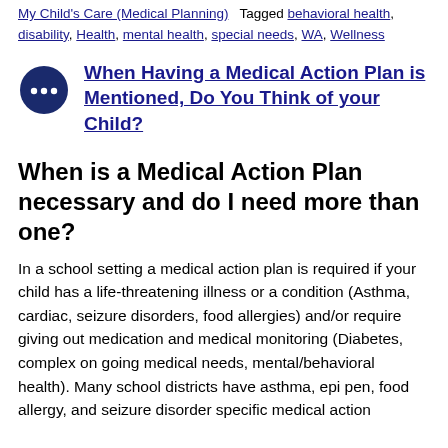Posted in Health & Wellness, Insurance and Coverage, My Child's Care (Medical Planning)   Tagged behavioral health, disability, Health, mental health, special needs, WA, Wellness
When Having a Medical Action Plan is Mentioned, Do You Think of your Child?
When is a Medical Action Plan necessary and do I need more than one?
In a school setting a medical action plan is required if your child has a life-threatening illness or a condition (Asthma, cardiac, seizure disorders, food allergies) and/or require giving out medication and medical monitoring (Diabetes, complex on going medical needs, mental/behavioral health). Many school districts have asthma, epi pen, food allergy, and seizure disorder specific medical action